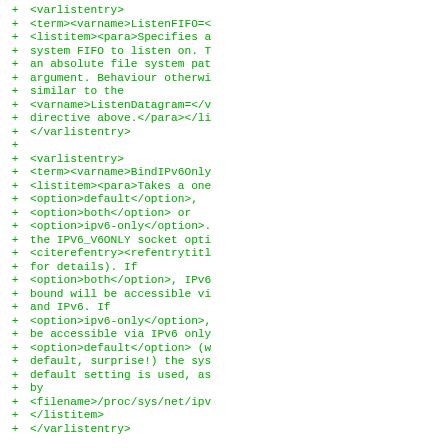Diff/patch code listing showing XML varlistentry elements with + markers, featuring ListenFIFO and BindIPv6Only directives